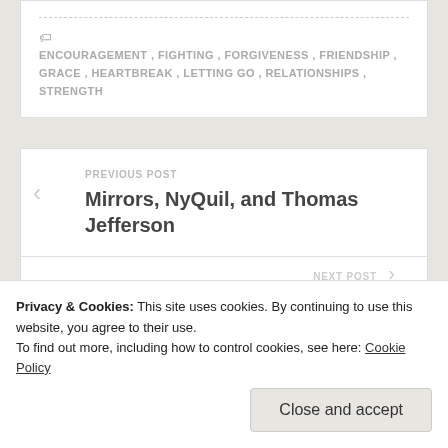ENCOURAGEMENT, FIGHTING, FORGIVENESS, FRIENDSHIP, GRACE, HEARTBREAK, LETTING GO, RELATIONSHIPS, STRENGTH
PREVIOUS POST
Mirrors, NyQuil, and Thomas Jefferson
NEXT POST
Privacy & Cookies: This site uses cookies. By continuing to use this website, you agree to their use. To find out more, including how to control cookies, see here: Cookie Policy
Close and accept